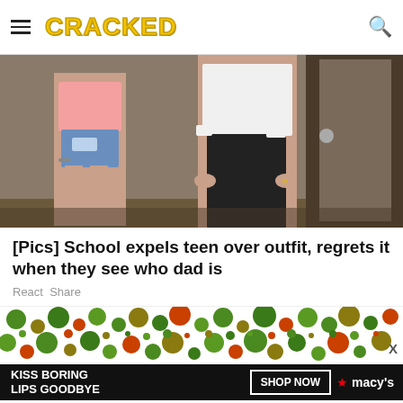CRACKED
[Figure (photo): A teen girl in a pink top and denim shorts and an adult in a white shirt and black pants, standing in a doorway]
[Pics] School expels teen over outfit, regrets it when they see who dad is
React Share
[Figure (other): Colorful circles/dots advertisement banner in green, orange, and brown on white background with X dismiss button]
[Figure (other): Macy's advertisement: KISS BORING LIPS GOODBYE with SHOP NOW button and Macy's star logo]